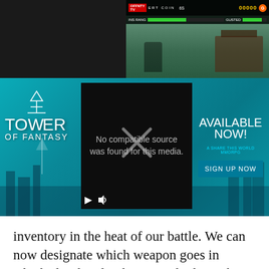[Figure (screenshot): Game screenshot showing fighting game HUD with health bars, score display, orange coin button, and game scene with character and building in background. Left portion shows dark/black area.]
[Figure (screenshot): Tower of Fantasy advertisement banner with video player showing 'No compatible source was found for this media.' message with play and speaker controls. Right side shows 'AVAILABLE NOW!' and 'SIGN UP NOW' button. Tower of Fantasy logo on left.]
inventory in the heat of our battle. We can now designate which weapon goes in which slot then let the game do the picking up for us.
[Figure (screenshot): Tower of Fantasy advertisement banner (second instance) with video player showing 'No compatible source was found for this media.' message with play and speaker controls. Right side shows 'AVAILABLE NOW!' and 'SIGN UP NOW' button. Tower of Fantasy logo on left.]